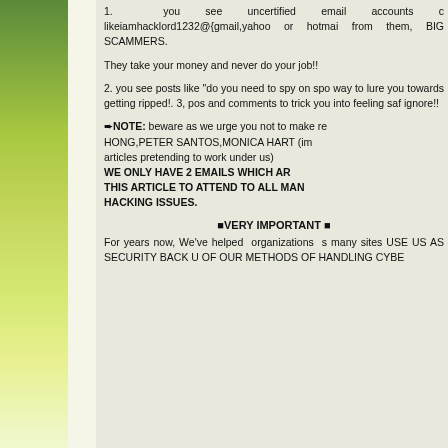1. you see uncertified email accounts c... likeiamhacklord1232@{gmail,yahoo or hotmai... from them, BIG SCAMMERS.
They take your money and never do your job!!
2. you see posts like "do you need to spy on spo... way to lure you towards getting ripped!. 3, pos... and comments to trick you into feeling safe... ignore!!
➨NOTE: beware as we urge you not to make re... HONG,PETER SANTOS,MONICA HART (im... articles pretending to work under us) WE ONLY HAVE 2 EMAILS WHICH AR... THIS ARTICLE TO ATTEND TO ALL MAN... HACKING ISSUES.
■VERY IMPORTANT ■
For years now, We've helped organizations s... many sites USE US AS SECURITY BACK U... OF OUR METHODS OF HANDLING CYBE...